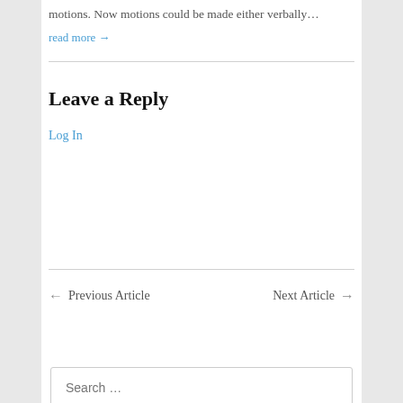motions. Now motions could be made either verbally…
read more →
Leave a Reply
Log In
← Previous Article
Next Article →
Search …